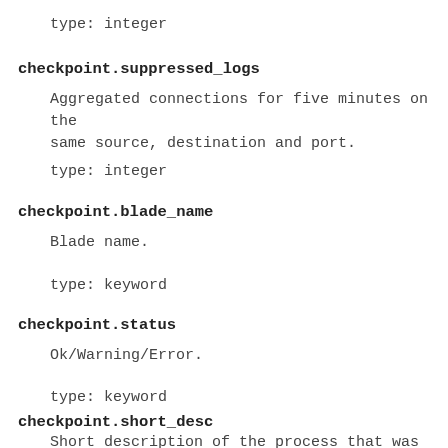type: integer
checkpoint.suppressed_logs
Aggregated connections for five minutes on the same source, destination and port.
type: integer
checkpoint.blade_name
Blade name.
type: keyword
checkpoint.status
Ok/Warning/Error.
type: keyword
checkpoint.short_desc
Short description of the process that was